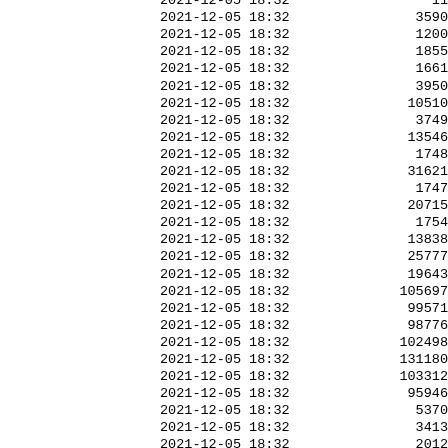| datetime | value |
| --- | --- |
| 2021-12-05 18:32 | 11… |
| 2021-12-05 18:32 | 3590… |
| 2021-12-05 18:32 | 1200… |
| 2021-12-05 18:32 | 1855… |
| 2021-12-05 18:32 | 1661… |
| 2021-12-05 18:32 | 3950… |
| 2021-12-05 18:32 | 10510… |
| 2021-12-05 18:32 | 3749… |
| 2021-12-05 18:32 | 13546… |
| 2021-12-05 18:32 | 1748… |
| 2021-12-05 18:32 | 31621… |
| 2021-12-05 18:32 | 1747… |
| 2021-12-05 18:32 | 20715… |
| 2021-12-05 18:32 | 1754… |
| 2021-12-05 18:32 | 13838… |
| 2021-12-05 18:32 | 25777… |
| 2021-12-05 18:32 | 19643… |
| 2021-12-05 18:32 | 105697… |
| 2021-12-05 18:32 | 99571… |
| 2021-12-05 18:32 | 98776… |
| 2021-12-05 18:32 | 102498… |
| 2021-12-05 18:32 | 131180… |
| 2021-12-05 18:32 | 103312… |
| 2021-12-05 18:32 | 95946… |
| 2021-12-05 18:32 | 5370… |
| 2021-12-05 18:32 | 3413… |
| 2021-12-05 18:32 | 2012… |
| 2021-12-05 18:32 | 25481… |
| 2021-12-05 18:32 | 0… |
| 2021-12-05 18:32 | 19474… |
| 2021-12-05 18:32 | … |